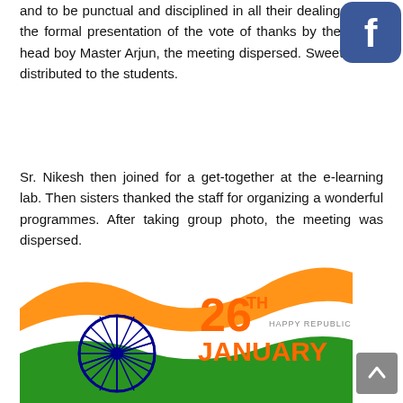and to be punctual and disciplined in all their dealings. After the formal presentation of the vote of thanks by the Junior head boy Master Arjun, the meeting dispersed. Sweets were distributed to the students.
Sr. Nikesh then joined for a get-together at the e-learning lab. Then sisters thanked the staff for organizing a wonderful programmes. After taking group photo, the meeting was dispersed.
[Figure (illustration): 26th January Happy Republic Day graphic with Indian national flag wave design (saffron, white, green) and Ashoka Chakra wheel]